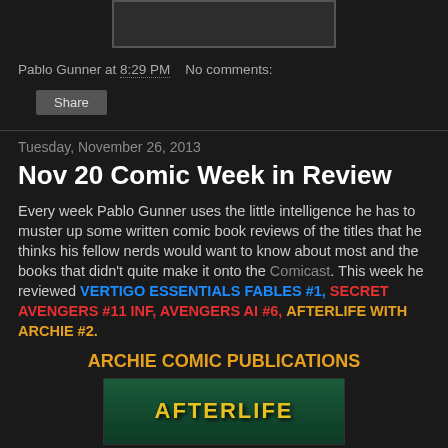[Figure (screenshot): Top image placeholder area, dark background with light border]
Pablo Gunner at 8:29 PM   No comments:
Share
Tuesday, November 26, 2013
Nov 20 Comic Week in Review
Every week Pablo Gunner uses the little intelligence he has to muster up some written comic book reviews of the titles that he thinks his fellow nerds would want to know about most and the books that didn't quite make it onto the Comicast. This week he reviewed VERTIGO ESSENTIALS FABLES #1, SECRET AVENGERS #11 INF, AVENGERS AI #6, AFTERLIFE WITH ARCHIE #2.
ARCHIE COMIC PUBLICATIONS
[Figure (photo): Comic book cover image for Afterlife with Archie #2, partially visible at bottom of page]